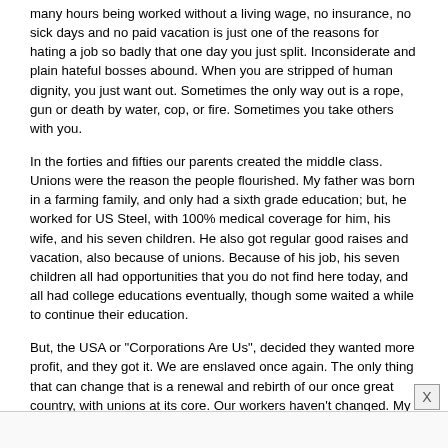many hours being worked without a living wage, no insurance, no sick days and no paid vacation is just one of the reasons for hating a job so badly that one day you just split. Inconsiderate and plain hateful bosses abound. When you are stripped of human dignity, you just want out. Sometimes the only way out is a rope, gun or death by water, cop, or fire. Sometimes you take others with you.
In the forties and fifties our parents created the middle class. Unions were the reason the people flourished. My father was born in a farming family, and only had a sixth grade education; but, he worked for US Steel, with 100% medical coverage for him, his wife, and his seven children. He also got regular good raises and vacation, also because of unions. Because of his job, his seven children all had opportunities that you do not find here today, and all had college educations eventually, though some waited a while to continue their education.
But, the USA or "Corporations Are Us", decided they wanted more profit, and they got it. We are enslaved once again. The only thing that can change that is a renewal and rebirth of our once great country, with unions at its core. Our workers haven't changed. My sons both were working over 60 hours a week when they were laid off because of this little recession. Jobs have flown overseas, and those of us who actually supported Ross Perot are vindicated; not that this does the country any good now. If Clinton has a defense, it would be that safeguards he put in place have been ignored by subsequent administrations, and by ignorance of the electorate.